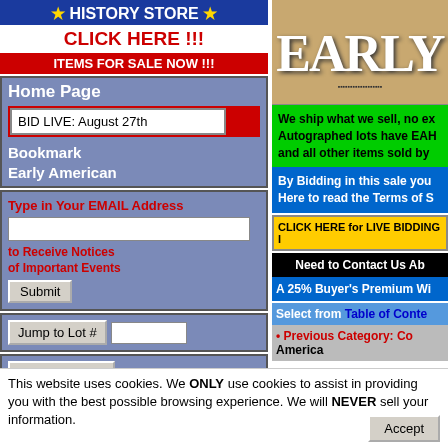[Figure (screenshot): History Store banner with blue background, stars, CLICK HERE text in red, and ITEMS FOR SALE NOW in red background]
Home Page
BID LIVE: August 27th
Bookmark Early American
Type in Your EMAIL Address
to Receive Notices of Important Events
Jump to Lot #
Search for Text
[Figure (screenshot): Early American History auction site banner with historical photo and EARLY text]
We ship what we sell, no ex... Autographed lots have EAH... and all other items sold by...
By Bidding in this sale you... Here to read the Terms of S...
CLICK HERE for LIVE BIDDING I...
Need to Contact Us Ab...
A 25% Buyer's Premium Wi...
Select from Table of Conte...
Previous Category: Co... America
This website uses cookies. We ONLY use cookies to assist in providing you with the best possible browsing experience. We will NEVER sell your information.